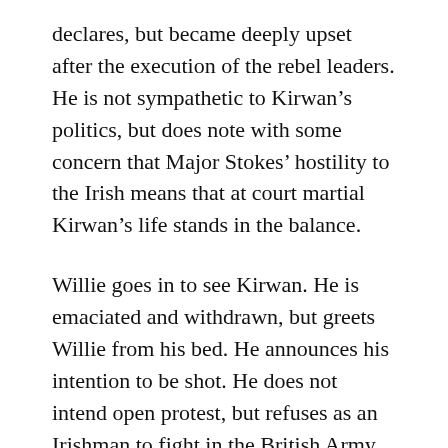declares, but became deeply upset after the execution of the rebel leaders. He is not sympathetic to Kirwan’s politics, but does note with some concern that Major Stokes’ hostility to the Irish means that at court martial Kirwan’s life stands in the balance.
Willie goes in to see Kirwan. He is emaciated and withdrawn, but greets Willie from his bed. He announces his intention to be shot. He does not intend open protest, but refuses as an Irishman to fight in the British Army. He has chosen Willie as the single witness to his intentions. Willie tries to talk him out of his intention, but Kirwan is firm. Willie then gives Kirwan his Bible. Kirwan protests that he has